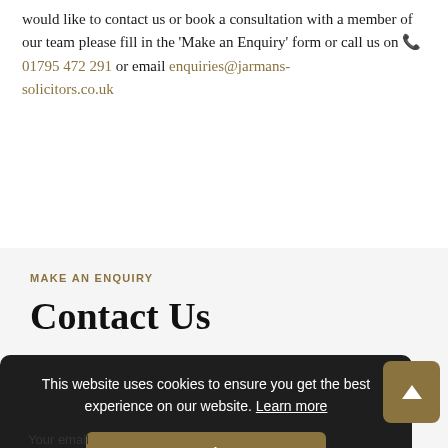would like to contact us or book a consultation with a member of our team please fill in the 'Make an Enquiry' form or call us on 📞01795 472 291 or email enquiries@jarmans-solicitors.co.uk
MAKE AN ENQUIRY
Contact Us
This website uses cookies to ensure you get the best experience on our website. Learn more
Got it!
Your email